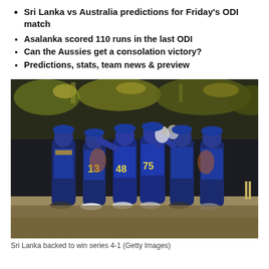Sri Lanka vs Australia predictions for Friday's ODI match
Asalanka scored 110 runs in the last ODI
Can the Aussies get a consolation victory?
Predictions, stats, team news & preview
[Figure (photo): Sri Lanka cricket players in blue and gold jerseys celebrating on the field, with numbers 48 and 75 visible on jerseys, crowd in background at night match]
Sri Lanka backed to win series 4-1 (Getty Images)